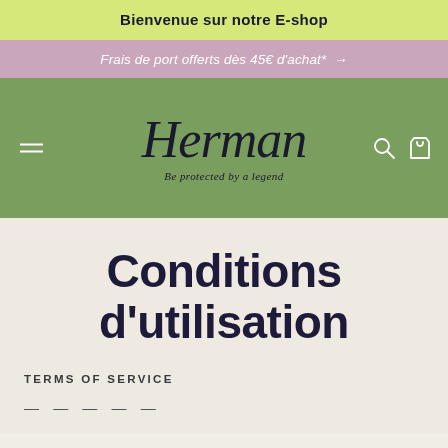Bienvenue sur notre E-shop
Frais de port offerts dès 45€ d'achat* →
[Figure (logo): Herman brand logo with script font and tagline 'Be protected by a legend' on green background with hamburger menu, search and cart icons]
Conditions d'utilisation
TERMS OF SERVICE
— — — — —